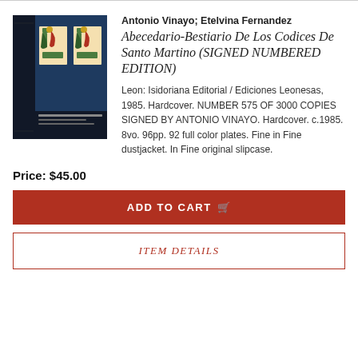[Figure (photo): Book cover image of Abecedario-Bestiario De Los Codices De Santo Martino, showing illuminated manuscript artwork with decorative birds on a dark blue background]
Antonio Vinayo; Etelvina Fernandez
Abecedario-Bestiario De Los Codices De Santo Martino (SIGNED NUMBERED EDITION)
Leon: Isidoriana Editorial / Ediciones Leonesas, 1985. Hardcover. NUMBER 575 OF 3000 COPIES SIGNED BY ANTONIO VINAYO. Hardcover. c.1985. 8vo. 96pp. 92 full color plates. Fine in Fine dustjacket. In Fine original slipcase.
Price: $45.00
ADD TO CART
ITEM DETAILS